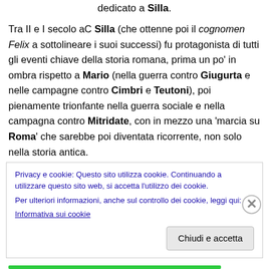dedicato a Silla.
Tra II e I secolo aC Silla (che ottenne poi il cognomen Felix a sottolineare i suoi successi) fu protagonista di tutti gli eventi chiave della storia romana, prima un po' in ombra rispetto a Mario (nella guerra contro Giugurta e nelle campagne contro Cimbri e Teutoni), poi pienamente trionfante nella guerra sociale e nella campagna contro Mitridate, con in mezzo una 'marcia su Roma' che sarebbe poi diventata ricorrente, non solo nella storia antica.
Privacy e cookie: Questo sito utilizza cookie. Continuando a utilizzare questo sito web, si accetta l'utilizzo dei cookie.
Per ulteriori informazioni, anche sul controllo dei cookie, leggi qui:
Informativa sui cookie
Chiudi e accetta